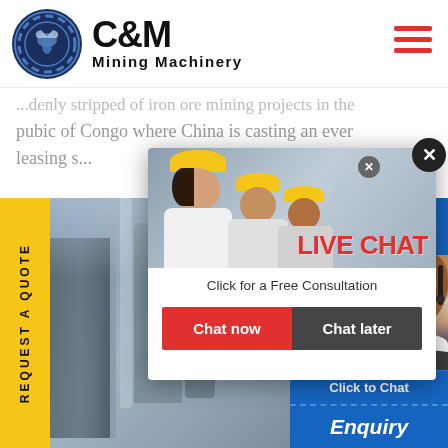[Figure (logo): C&M Mining Machinery logo with navy blue circular emblem featuring an eagle and gear, with bold text C&M Mining Machinery]
...denly stripped of iron ore mining projects in the pubic of Congo where China is casting an ever leasing s...
[Figure (photo): Industrial mining facility background with silos and pipes]
[Figure (screenshot): Live chat popup with workers in yellow hard hats, LIVE CHAT title in red, Click for a Free Consultation text, Chat now (red) and Chat later (dark) buttons]
[Figure (photo): Customer support agent (woman with headset) on right side panel with Hours Online, Click to Chat, and Enquiry sections]
REQUEST A QUOTE
LIVE CHAT
Click for a Free Consultation
Chat now
Chat later
Hours
Online
Click to Chat
Enquiry